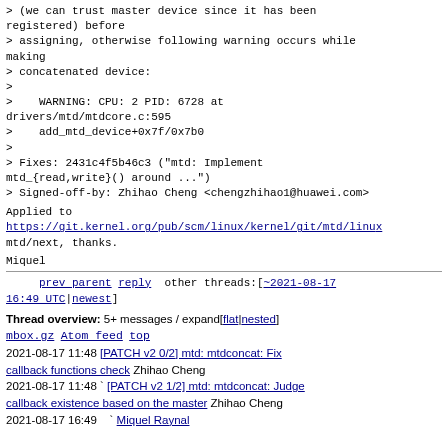> (we can trust master device since it has been registered) before
> assigning, otherwise following warning occurs while making
> concatenated device:
>
>    WARNING: CPU: 2 PID: 6728 at drivers/mtd/mtdcore.c:595
>    add_mtd_device+0x7f/0x7b0
>
> Fixes: 2431c4f5b46c3 ("mtd: Implement mtd_{read,write}() around ...")
> Signed-off-by: Zhihao Cheng <chengzhihao1@huawei.com>
Applied to
https://git.kernel.org/pub/scm/linux/kernel/git/mtd/linux mtd/next, thanks.
Miquel
prev parent reply other threads:[~2021-08-17 16:49 UTC|newest]
Thread overview: 5+ messages / expand[flat|nested]
mbox.gz  Atom feed  top
2021-08-17 11:48 [PATCH v2 0/2] mtd: mtdconcat: Fix callback functions check Zhihao Cheng
2021-08-17 11:48 ` [PATCH v2 1/2] mtd: mtdconcat: Judge callback existence based on the master Zhihao Cheng
2021-08-17 16:49   ` Miquel Raynal